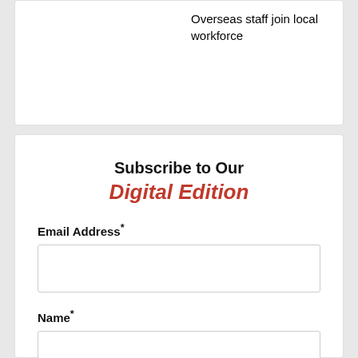Overseas staff join local workforce
Subscribe to Our Digital Edition
Email Address*
Name*